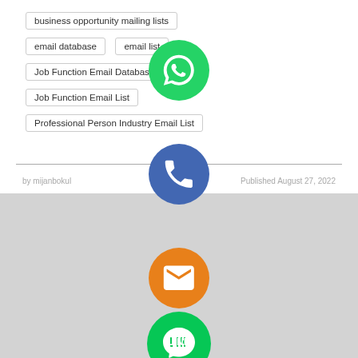business opportunity mailing lists
email database
email list
Job Function Email Database
Job Function Email List
Professional Person Industry Email List
by mijanbokul
Published August 27, 2022
[Figure (illustration): Social media sharing icons: WhatsApp (green), Phone/Viber call (blue), Email (orange), LINE (green), Viber (purple), Close/X (light green)]